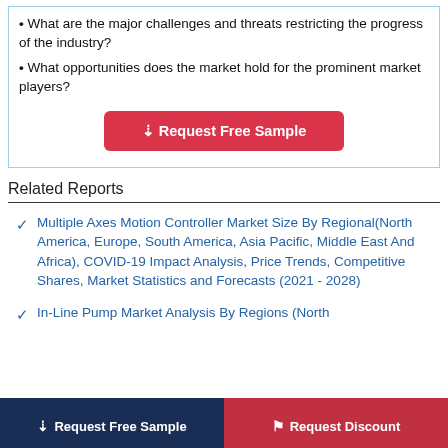What are the major challenges and threats restricting the progress of the industry?
What opportunities does the market hold for the prominent market players?
Request Free Sample
Related Reports
Multiple Axes Motion Controller Market Size By Regional(North America, Europe, South America, Asia Pacific, Middle East And Africa), COVID-19 Impact Analysis, Price Trends, Competitive Shares, Market Statistics and Forecasts (2021 - 2028)
In-Line Pump Market Analysis By Regions (North
Request Free Sample
Request Discount